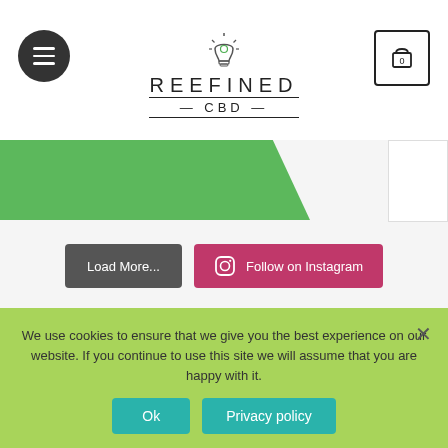[Figure (logo): Reefined CBD logo with lightbulb icon, brand name in uppercase with horizontal lines]
Load More...
Follow on Instagram
The Latest Posts
Ultra-premium strains cultivated with love and developed to
We use cookies to ensure that we give you the best experience on our website. If you continue to use this site we will assume that you are happy with it.
Ok
Privacy policy